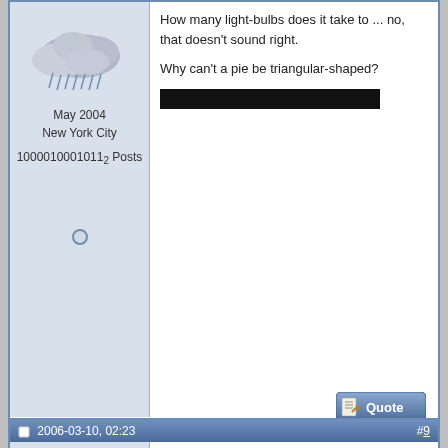[Figure (illustration): Rainy cloud weather icon - grey clouds with rain drops]
May 2004
New York City
1000010001011₂ Posts
How many light-bulbs does it take to ... no, that doesn't sound right.

Why can't a pie be triangular-shaped?
[Figure (other): Black redacted/censored bar]
[Figure (other): Offline status circle icon]
[Figure (other): Quote button]
2006-03-10, 02:23   #9
99.94
[Figure (illustration): Cartoon kangaroo with joey in pouch]
Dec 2004
The Land of Lost Content
3×7×13 Posts
[Figure (other): Post/edit icon (notepad)]
This one's specially for our German speakers. (Hope I can get the spoiler tags to work...).

There was a house in the Bavarian Highlands. It was winter and a fire was blazing. Near the fire was a gold fish bowl and in the bowl lived two gold fish named appropriately enough Eins and Zwei.

Eins and Zwei were acting the fool and both fell out of the bowl and landed on the